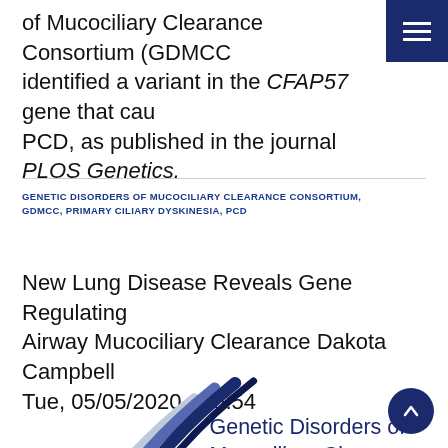of Mucociliary Clearance Consortium (GDMCC identified a variant in the CFAP57 gene that caused PCD, as published in the journal PLOS Genetics.
GENETIC DISORDERS OF MUCOCILIARY CLEARANCE CONSORTIUM, GDMCC, PRIMARY CILIARY DYSKINESIA, PCD
New Lung Disease Reveals Gene Regulating Airway Mucociliary Clearance Dakota Campbell Tue, 05/05/2020 - 15:54
[Figure (logo): Genetic Disorders of Mucociliary Clearance Consortium logo with curved lines in dark blue, medium blue, and light blue/grey, alongside text reading 'Genetic Disorders of Mucociliary Clearance Consortium']